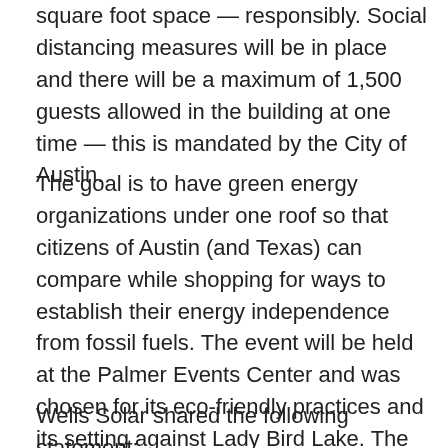square foot space — responsibly. Social distancing measures will be in place and there will be a maximum of 1,500 guests allowed in the building at one time — this is mandated by the City of Austin.
The goal is to have green energy organizations under one roof so that citizens of Austin (and Texas) can compare while shopping for ways to establish their energy independence from fossil fuels. The event will be held at the Palmer Events Center and was chosen for its eco-friendly practices and its setting against Lady Bird Lake. The event center has almost 1,000 solar roof panels, so visitors will get to see the panels as they walk into the event.
Wells Solar shared the following statement: